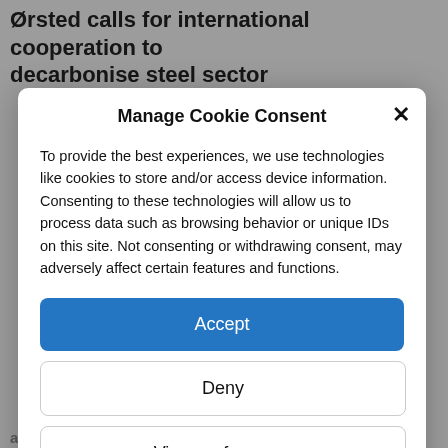Ørsted calls for international cooperation to decarbonise steel sector
Manage Cookie Consent
To provide the best experiences, we use technologies like cookies to store and/or access device information. Consenting to these technologies will allow us to process data such as browsing behavior or unique IDs on this site. Not consenting or withdrawing consent, may adversely affect certain features and functions.
Accept
Deny
View preferences
Cookie Policy   Privacy policy
appear as steel works